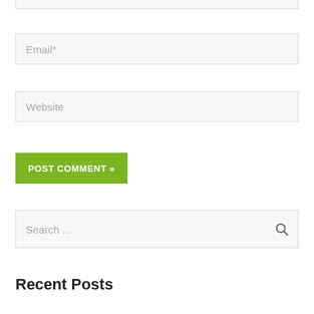[Figure (screenshot): Top partial input field border visible at top of page]
Email*
Website
POST COMMENT »
Search ...
Recent Posts